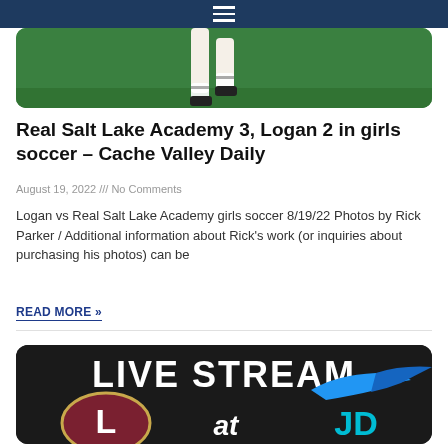≡
[Figure (photo): Soccer player legs on green field background, hero image for article]
Real Salt Lake Academy 3, Logan 2 in girls soccer – Cache Valley Daily
August 19, 2022 /// No Comments
Logan vs Real Salt Lake Academy girls soccer 8/19/22 Photos by Rick Parker / Additional information about Rick's work (or inquiries about purchasing his photos) can be
READ MORE »
[Figure (infographic): Live Stream graphic with dark background showing Logan 'L' logo at left, 'at' text in center, and JD Jaybird logo at right]